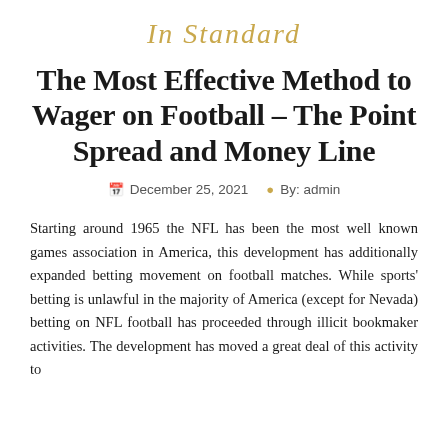In Standard
The Most Effective Method to Wager on Football – The Point Spread and Money Line
December 25, 2021   By: admin
Starting around 1965 the NFL has been the most well known games association in America, this development has additionally expanded betting movement on football matches. While sports' betting is unlawful in the majority of America (except for Nevada) betting on NFL football has proceeded through illicit bookmaker activities. The development has moved a great deal of this activity to